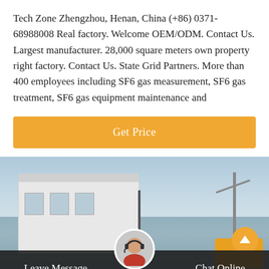Tech Zone Zhengzhou, Henan, China (+86) 0371-68988008 Real factory. Welcome OEM/ODM. Contact Us. Largest manufacturer. 28,000 square meters own property right factory. Contact Us. State Grid Partners. More than 400 employees including SF6 gas measurement, SF6 gas treatment, SF6 gas equipment maintenance and
[Figure (other): Orange 'Get Price' button with white text on an orange background]
[Figure (photo): Photo of an industrial factory building with a pole on the left, a tower on the right, and a yellow vehicle partially visible on the right side. Blue sky in the background. A dark bar at the bottom with 'Leave Message' on the left and 'Chat Online' on the right, and a customer service avatar in the center.]